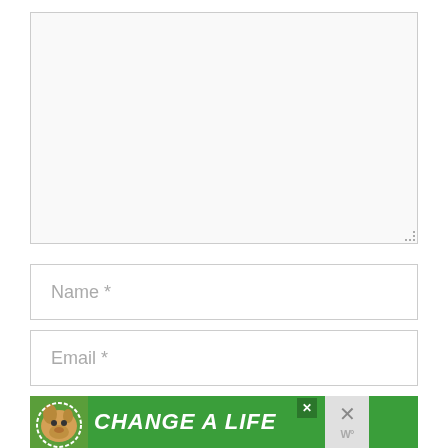[Figure (screenshot): Empty textarea input field with resize handle at bottom-right corner, light gray background]
Name *
Email *
[Figure (other): Advertisement banner with green background showing a dog and text 'CHANGE A LIFE' with close buttons and heart icon]